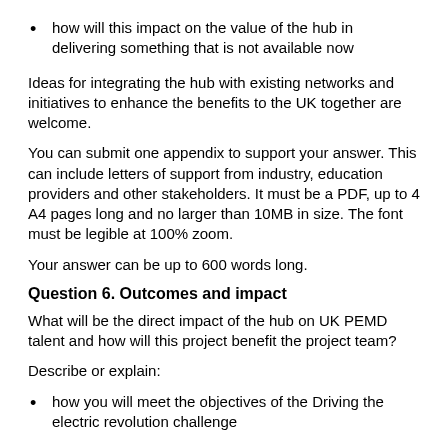how will this impact on the value of the hub in delivering something that is not available now
Ideas for integrating the hub with existing networks and initiatives to enhance the benefits to the UK together are welcome.
You can submit one appendix to support your answer. This can include letters of support from industry, education providers and other stakeholders. It must be a PDF, up to 4 A4 pages long and no larger than 10MB in size. The font must be legible at 100% zoom.
Your answer can be up to 600 words long.
Question 6. Outcomes and impact
What will be the direct impact of the hub on UK PEMD talent and how will this project benefit the project team?
Describe or explain:
how you will meet the objectives of the Driving the electric revolution challenge